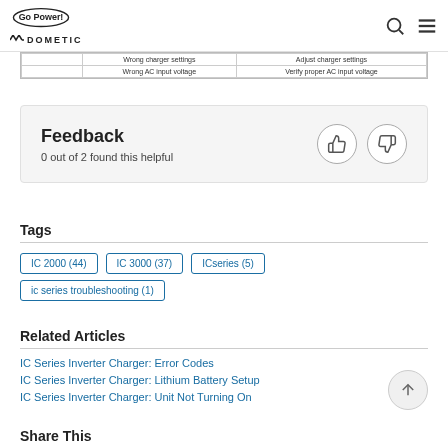Go Power! DOMETIC
|  | Cause | Solution |
| --- | --- | --- |
|  | Wrong charger settings | Adjust charger settings |
|  | Wrong AC input voltage | Verify proper AC input voltage |
Feedback
0 out of 2 found this helpful
Tags
IC 2000 (44)
IC 3000 (37)
ICseries  (5)
ic series troubleshooting (1)
Related Articles
IC Series Inverter Charger: Error Codes
IC Series Inverter Charger: Lithium Battery Setup
IC Series Inverter Charger: Unit Not Turning On
Share This